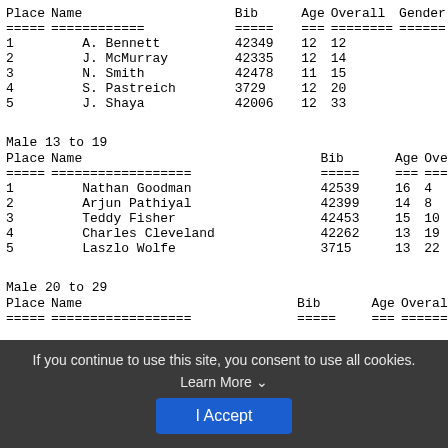| Place | Name | Bib | Age | Overall | Gender | Location |
| --- | --- | --- | --- | --- | --- | --- |
| 1 | A. Bennett | 42349 | 12 | 12 | M | Washing... |
| 2 | J. McMurray | 42335 | 12 | 14 | M | Washing... |
| 3 | N. Smith | 42478 | 11 | 15 | M | Washing... |
| 4 | S. Pastreich | 3729 | 12 | 20 | M | US |
| 5 | J. Shaya | 42006 | 12 | 33 | M | Washing... |
Male 13 to 19
| Place | Name | Bib | Age | Overall | Gender | Lo... |
| --- | --- | --- | --- | --- | --- | --- |
| 1 | Nathan Goodman | 42539 | 16 | 4 | M | Ch... |
| 2 | Arjun Pathiyal | 42399 | 14 | 8 | M | Wa... |
| 3 | Teddy Fisher | 42453 | 15 | 10 | M | Ch... |
| 4 | Charles Cleveland | 42262 | 13 | 19 | M | Wa... |
| 5 | Laszlo Wolfe | 3715 | 13 | 22 | M |  |
Male 20 to 29
| Place | Name | Bib | Age | Overall | Gender | Loc... |
| --- | --- | --- | --- | --- | --- | --- |
If you continue to use this site, you consent to use all cookies. Learn More
I Accept